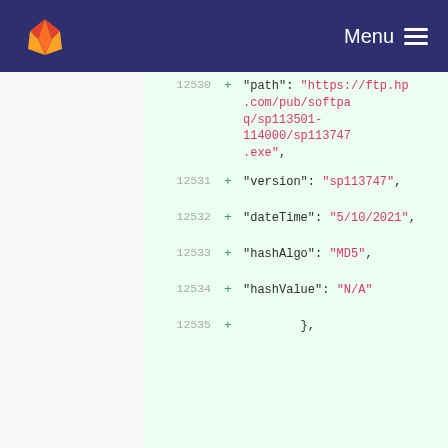GitLab — Menu
12530 + "path": "https://ftp.hp.com/pub/softpaq/sp113501-114000/sp113747.exe",
12531 + "version": "sp113747",
12532 + "dateTime": "5/10/2021",
12533 + "hashAlgo": "MD5",
12534 + "hashValue": "N/A"
12535 + },